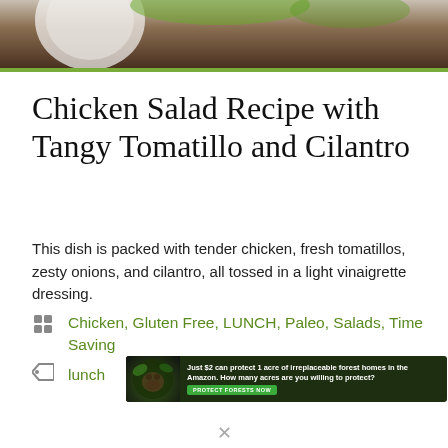[Figure (photo): Top portion of a food photo showing a white plate on a wooden surface with salad, partially visible at top of page]
Chicken Salad Recipe with Tangy Tomatillo and Cilantro
This dish is packed with tender chicken, fresh tomatillos, zesty onions, and cilantro, all tossed in a light vinaigrette dressing.
Chicken, Gluten Free, LUNCH, Paleo, Salads, Time Saving
lunch
[Figure (screenshot): Advertisement banner: Just $2 can protect 1 acre of irreplaceable forest homes in the Amazon. How many acres are you willing to protect? PROTECT FORESTS NOW]